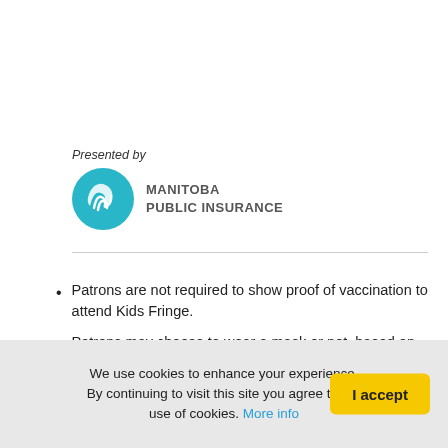Presented by
[Figure (logo): Manitoba Public Insurance logo — teal circular icon with stylized wave/ribbon marks and text 'MANITOBA PUBLIC INSURANCE' in grey sans-serif]
Patrons are not required to show proof of vaccination to attend Kids Fringe.
Patrons may choose to wear a mask or not, based on their comfort level.
All Fringe staff and volunteers are vaccinated.
We use cookies to enhance your experience. By continuing to visit this site you agree to our use of cookies. More info